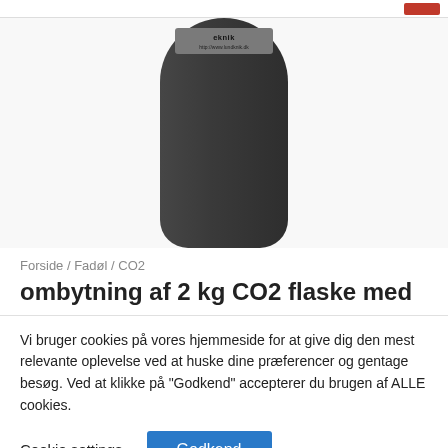[Figure (photo): A dark grey/black CO2 cylinder/flask photographed on a white background, partially cropped at the top, with a small label near the top reading 'eknik' and a URL.]
Forside / Fadøl / CO2
ombytning af 2 kg CO2 flaske med
Vi bruger cookies på vores hjemmeside for at give dig den mest relevante oplevelse ved at huske dine præferencer og gentage besøg. Ved at klikke på "Godkend" accepterer du brugen af ALLE cookies.
Cookie settings
Godkend